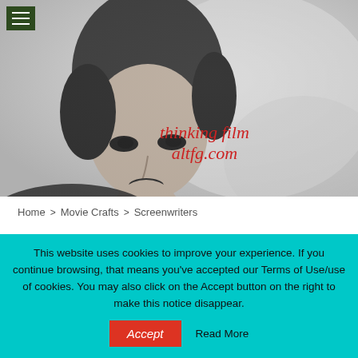[Figure (photo): Black and white vintage photograph of a young woman with short dark hair and dark lipstick, reclining and looking at the camera. Red italic text overlay reads 'thinking film' and 'altfg.com'.]
thinking film
altfg.com
Home > Movie Crafts > Screenwriters
SCREENWRITERS
This website uses cookies to improve your experience. If you continue browsing, that means you've accepted our Terms of Use/use of cookies. You may also click on the Accept button on the right to make this notice disappear.
Accept   Read More